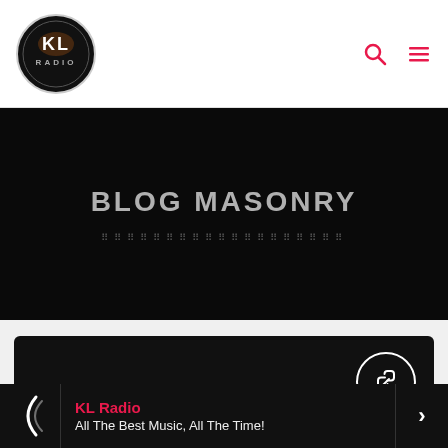[Figure (logo): KL Radio circular logo with dark background, white KL text and RADIO below]
KL Radio navigation bar with search and menu icons
BLOG MASONRY
[Figure (other): Dark hero banner with BLOG MASONRY heading and decorative dot pattern]
[Figure (other): Dark card with link icon button and share icon on dark background]
KL Radio — All The Best Music, All The Time!